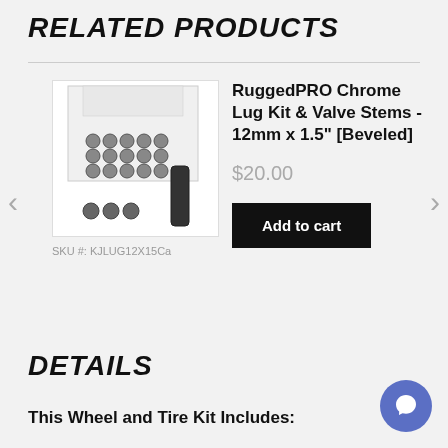RELATED PRODUCTS
[Figure (photo): Product photo of RuggedPRO Chrome Lug Kit and Valve Stems in a white box with lug nuts and a tool visible]
SKU #: KJLUG12X15Ca
RuggedPRO Chrome Lug Kit & Valve Stems - 12mm x 1.5" [Beveled]
$20.00
Add to cart
DETAILS
This Wheel and Tire Kit Includes: